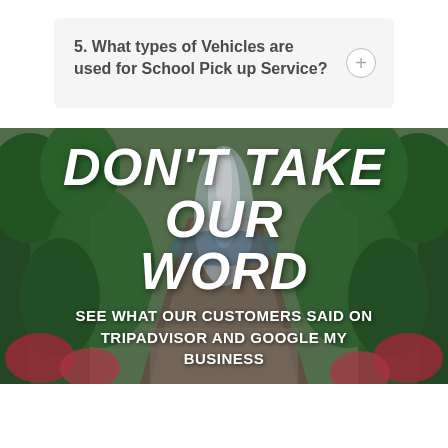5. What types of Vehicles are used for School Pick up Service?
[Figure (photo): Outdoor garden/atrium with a large fountain, lush tropical greenery, flowering plants, and a long walkway leading to the fountain. People are visible in the background. Overlaid with bold white text promoting customer reviews.]
DON'T TAKE OUR WORD
SEE WHAT OUR CUSTOMERS SAID ON TRIPADVISOR AND GOOGLE MY BUSINESS